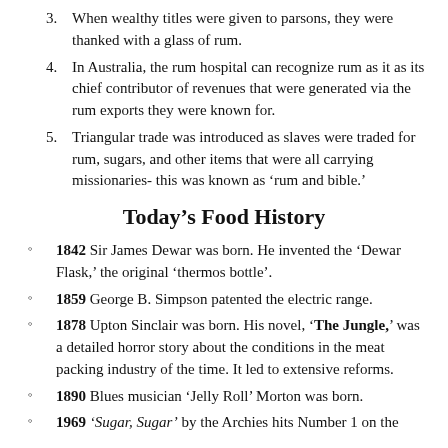3. When wealthy titles were given to parsons, they were thanked with a glass of rum.
4. In Australia, the rum hospital can recognize rum as it as its chief contributor of revenues that were generated via the rum exports they were known for.
5. Triangular trade was introduced as slaves were traded for rum, sugars, and other items that were all carrying missionaries- this was known as ‘rum and bible.’
Today’s Food History
1842 Sir James Dewar was born. He invented the ‘Dewar Flask,’ the original ‘thermos bottle’.
1859 George B. Simpson patented the electric range.
1878 Upton Sinclair was born. His novel, ‘The Jungle,’ was a detailed horror story about the conditions in the meat packing industry of the time. It led to extensive reforms.
1890 Blues musician ‘Jelly Roll’ Morton was born.
1969 ‘Sugar, Sugar’ by the Archies hits Number 1 on the charts.